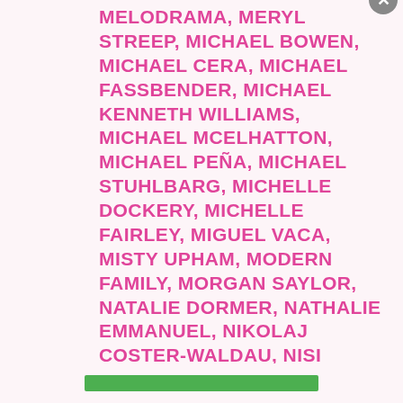MELODRAMA, MERYL STREEP, MICHAEL BOWEN, MICHAEL CERA, MICHAEL FASSBENDER, MICHAEL KENNETH WILLIAMS, MICHAEL MCELHATTON, MICHAEL PEÑA, MICHAEL STUHLBARG, MICHELLE DOCKERY, MICHELLE FAIRLEY, MIGUEL VACA, MISTY UPHAM, MODERN FAMILY, MORGAN SAYLOR, NATALIE DORMER, NATHALIE EMMANUEL, NIKOLAJ COSTER-WALDAU, NISI STURGIS, NOLAN GOULD, OONA CHAPLIN, OPRAH WINFREY, OSCAR, PATRICIA ARQUETTE, PATRICK SANE, PAUL DANO, PAUL GIAMATTI, PAUL HERMAN, PAUL KAYE, PAUL SPARKS, PENELOPE WILTON, PETER DINKLAGE, PHILIP MCGINLEY
Privacy & Cookies: This site uses cookies. By continuing to use this website, you agree to their use.
To find out more, including how to control cookies, see here: Cookie Policy
Close and accept